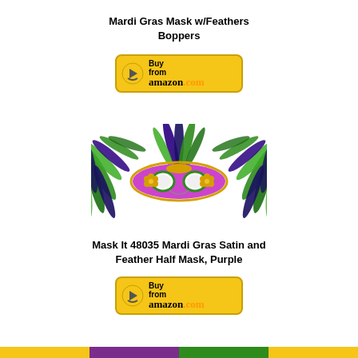Mardi Gras Mask w/Feathers Boppers
[Figure (logo): Buy from Amazon.com button (yellow/gold rounded rectangle with arrow logo)]
[Figure (photo): Mardi Gras feather half mask in purple, green, and gold with large feather plumes on both sides]
Mask It 48035 Mardi Gras Satin and Feather Half Mask, Purple
[Figure (logo): Buy from Amazon.com button (yellow/gold rounded rectangle with arrow logo)]
[Figure (other): Bottom color bar in Mardi Gras colors: yellow, purple, green, yellow]